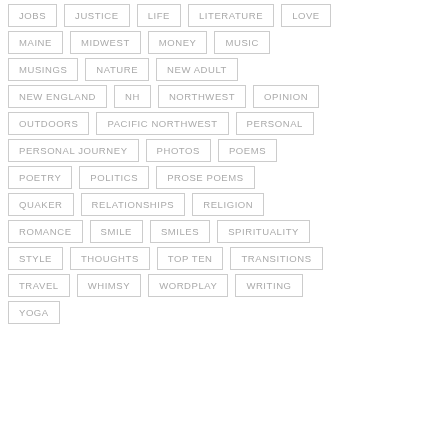JOBS
JUSTICE
LIFE
LITERATURE
LOVE
MAINE
MIDWEST
MONEY
MUSIC
MUSINGS
NATURE
NEW ADULT
NEW ENGLAND
NH
NORTHWEST
OPINION
OUTDOORS
PACIFIC NORTHWEST
PERSONAL
PERSONAL JOURNEY
PHOTOS
POEMS
POETRY
POLITICS
PROSE POEMS
QUAKER
RELATIONSHIPS
RELIGION
ROMANCE
SMILE
SMILES
SPIRITUALITY
STYLE
THOUGHTS
TOP TEN
TRANSITIONS
TRAVEL
WHIMSY
WORDPLAY
WRITING
YOGA